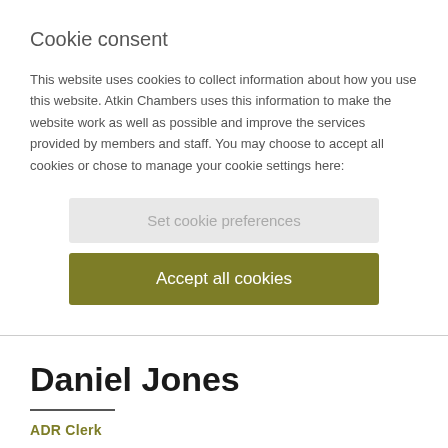Cookie consent
This website uses cookies to collect information about how you use this website. Atkin Chambers uses this information to make the website work as well as possible and improve the services provided by members and staff. You may choose to accept all cookies or chose to manage your cookie settings here:
Set cookie preferences
Accept all cookies
Daniel Jones
ADR Clerk